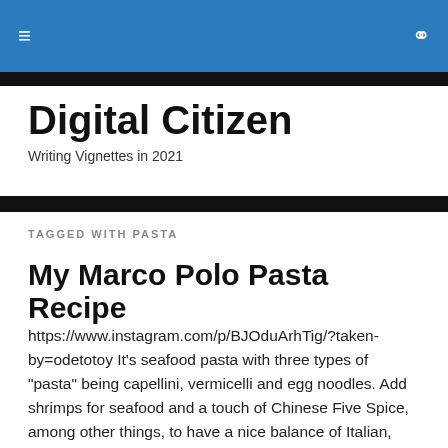Digital Citizen — Writing Vignettes in 2021
Digital Citizen
Writing Vignettes in 2021
TAGGED WITH PASTA
My Marco Polo Pasta Recipe
https://www.instagram.com/p/BJOduArhTig/?taken-by=odetotoy It's seafood pasta with three types of "pasta" being capellini, vermicelli and egg noodles. Add shrimps for seafood and a touch of Chinese Five Spice, among other things, to have a nice balance of Italian, Chinese, seafaring and … Continue reading →